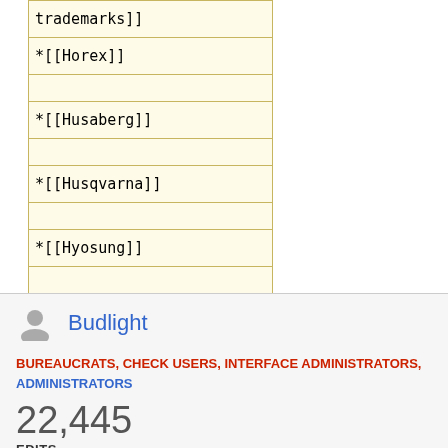| trademarks]] |
| *[[Horex]] |
|  |
| *[[Husaberg]] |
|  |
| *[[Husqvarna]] |
|  |
| *[[Hyosung]] |
|  |
| *[[Imme]] |
|  |
| *[[Iver-Johnson]] |
|  |
| *[[JAP]] |
|  |
| *[[James]] |
Budlight
BUREAUCRATS, CHECK USERS, INTERFACE ADMINISTRATORS, ADMINISTRATORS
22,445 EDITS